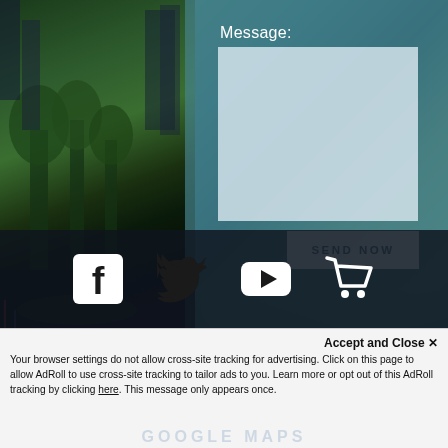[Figure (screenshot): Website screenshot showing a contact form with Message label and text area over a city night cityscape background with teal overlay, social media icons bar (Facebook, Twitter, YouTube, Cart), and a cookie consent banner at the bottom.]
Message:
SEND NOW
[Figure (illustration): Social media icon bar with Facebook, Twitter, YouTube, and shopping cart icons on dark background]
Accept and Close ✕
Your browser settings do not allow cross-site tracking for advertising. Click on this page to allow AdRoll to use cross-site tracking to tailor ads to you. Learn more or opt out of this AdRoll tracking by clicking here. This message only appears once.